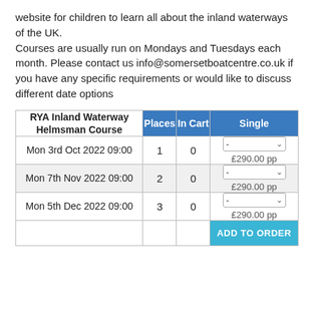website for children to learn all about the inland waterways of the UK.
Courses are usually run on Mondays and Tuesdays each month. Please contact us info@somersetboatcentre.co.uk if you have any specific requirements or would like to discuss different date options
| RYA Inland Waterway Helmsman Course | Places | In Cart | Single |
| --- | --- | --- | --- |
| Mon 3rd Oct 2022 09:00 | 1 | 0 | - ∨
£290.00 pp |
| Mon 7th Nov 2022 09:00 | 2 | 0 | - ∨
£290.00 pp |
| Mon 5th Dec 2022 09:00 | 3 | 0 | - ∨
£290.00 pp |
|  |  |  | ADD TO ORDER |